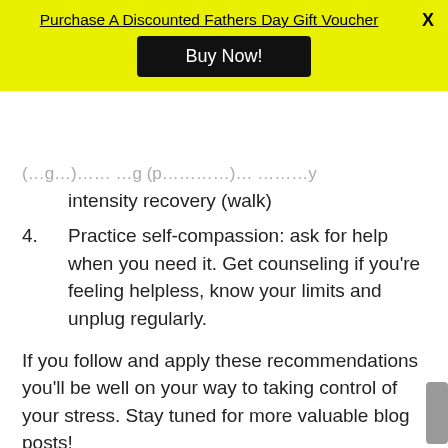Purchase A Discounted Fathers Day Gift Voucher
Buy Now!
intensity recovery (walk)
4. Practice self-compassion: ask for help when you need it. Get counseling if you're feeling helpless, know your limits and unplug regularly.
If you follow and apply these recommendations you'll be well on your way to taking control of your stress. Stay tuned for more valuable blog posts!
Your Trusted Chiropractor Auckland
Take control, contact Revolution Chiropractic – Leading Chiropractor Auckland